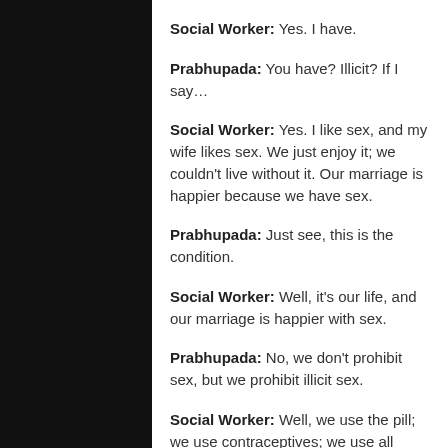Social Worker: Yes. I have.
Prabhupada: You have? Illicit? If I say…
Social Worker: Yes. I like sex, and my wife likes sex. We just enjoy it; we couldn't live without it. Our marriage is happier because we have sex.
Prabhupada: Just see, this is the condition.
Social Worker: Well, it's our life, and our marriage is happier with sex.
Prabhupada: No, we don't prohibit sex, but we prohibit illicit sex.
Social Worker: Well, we use the pill; we use contraceptives; we use all kinds of things because it makes our life…